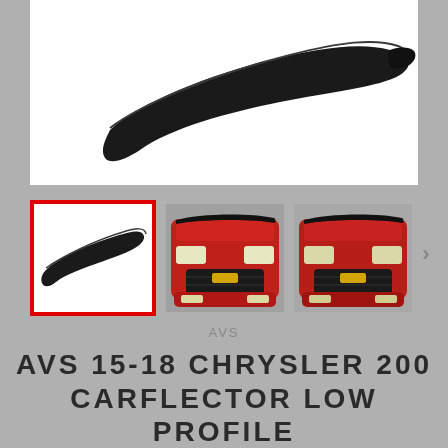[Figure (photo): Main product image: black hood deflector / carflector on white background, shown from above at an angle]
[Figure (photo): Thumbnail 1 (selected, red border): black hood deflector on white background]
[Figure (photo): Thumbnail 2: Red Chevrolet car with hood deflector installed, front view]
[Figure (photo): Thumbnail 3: Red Chevrolet car with hood deflector installed, front view (slightly different angle)]
AVS
AVS 15-18 CHRYSLER 200 CARFLECTOR LOW PROFILE